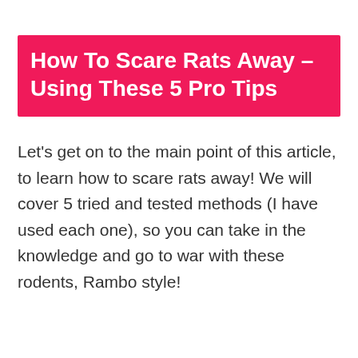How To Scare Rats Away – Using These 5 Pro Tips
Let's get on to the main point of this article, to learn how to scare rats away! We will cover 5 tried and tested methods (I have used each one), so you can take in the knowledge and go to war with these rodents, Rambo style!